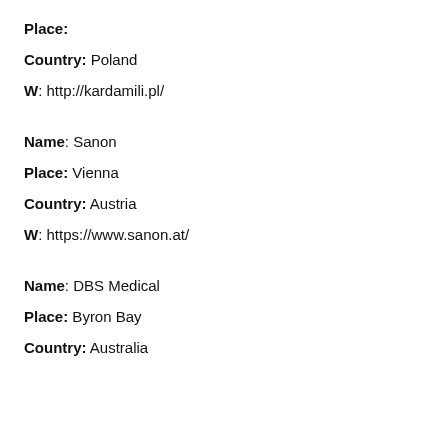Place:
Country: Poland
W: http://kardamili.pl/
Name: Sanon
Place: Vienna
Country: Austria
W: https://www.sanon.at/
Name: DBS Medical
Place: Byron Bay
Country: Australia